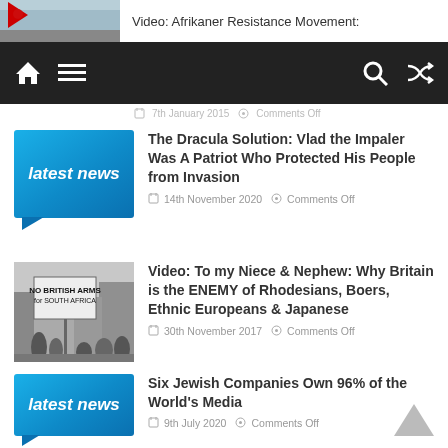Video: Afrikaner Resistance Movement:
[Figure (screenshot): Navigation bar with home, menu, search and shuffle icons on dark background]
7th January 2015   Comments Off
[Figure (illustration): Latest news blue speech bubble graphic]
The Dracula Solution: Vlad the Impaler Was A Patriot Who Protected His People from Invasion
14th November 2020   Comments Off
[Figure (photo): Black and white photo of protest with sign reading NO BRITISH ARMS for SOUTH AFRICA]
Video: To my Niece & Nephew: Why Britain is the ENEMY of Rhodesians, Boers, Ethnic Europeans & Japanese
30th November 2017   Comments Off
[Figure (illustration): Latest news blue speech bubble graphic]
Six Jewish Companies Own 96% of the World's Media
9th July 2020   Comments Off